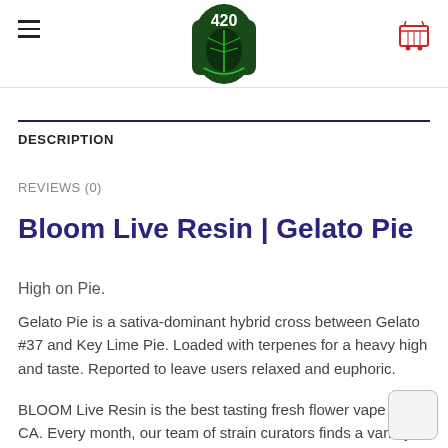420 logo, navigation menu, cart icon
DESCRIPTION
REVIEWS (0)
Bloom Live Resin | Gelato Pie
High on Pie.
Gelato Pie is a sativa-dominant hybrid cross between Gelato #37 and Key Lime Pie. Loaded with terpenes for a heavy high and taste. Reported to leave users relaxed and euphoric.
BLOOM Live Resin is the best tasting fresh flower vape in CA. Every month, our team of strain curators finds a variety